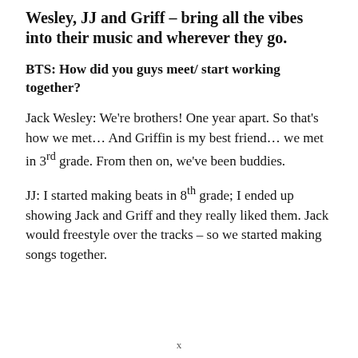Wesley, JJ and Griff – bring all the vibes into their music and wherever they go.
BTS: How did you guys meet/ start working together?
Jack Wesley: We're brothers! One year apart. So that's how we met… And Griffin is my best friend… we met in 3rd grade. From then on, we've been buddies.
JJ: I started making beats in 8th grade; I ended up showing Jack and Griff and they really liked them. Jack would freestyle over the tracks – so we started making songs together.
x